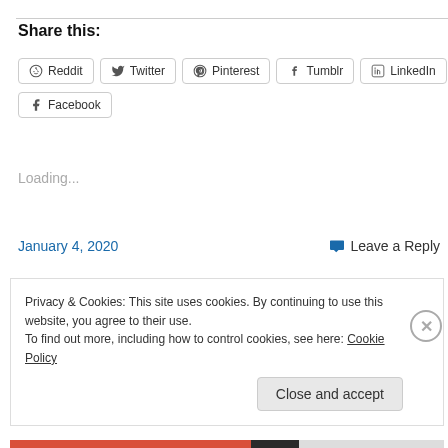Share this:
Reddit | Twitter | Pinterest | Tumblr | LinkedIn | Facebook
Loading...
January 4, 2020    💬 Leave a Reply
Privacy & Cookies: This site uses cookies. By continuing to use this website, you agree to their use.
To find out more, including how to control cookies, see here: Cookie Policy
Close and accept